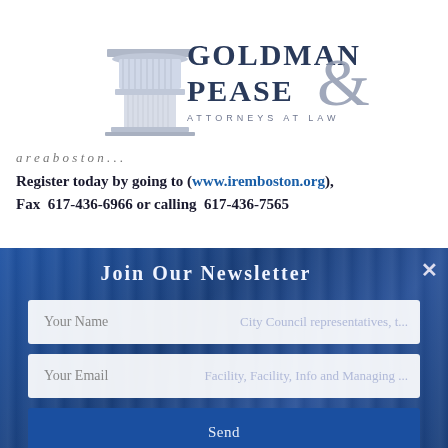[Figure (logo): Goldman & Pease Attorneys at Law logo with a classical column capital and serif lettering]
Register today by going to (www.iremboston.org), Fax  617-436-6966 or calling  617-436-7565
[Figure (screenshot): Join Our Newsletter popup overlay with Your Name field, Your Email field, and Send button on a blue textured background]